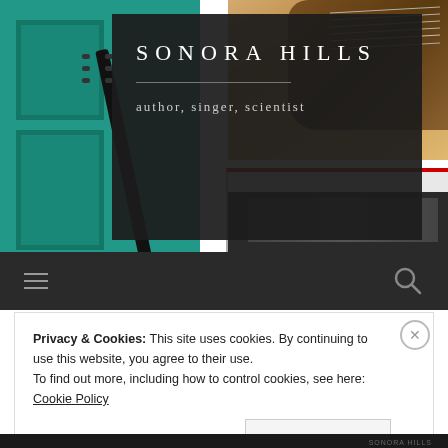[Figure (photo): Website header photo showing acoustic guitar neck on the left against a teal/turquoise door, and guitar body on the right with wood floor background. A dark semi-transparent box overlays the center.]
SONORA HILLS
author, singer, scientist
[Figure (other): Dark navigation toolbar with hamburger menu icon on the left and search icon on the right]
Privacy & Cookies: This site uses cookies. By continuing to use this website, you agree to their use.
To find out more, including how to control cookies, see here: Cookie Policy
Close and accept